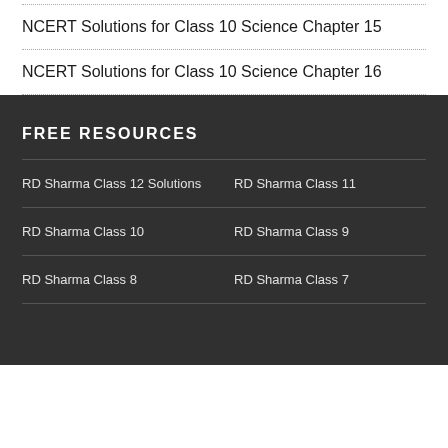NCERT Solutions for Class 10 Science Chapter 15
NCERT Solutions for Class 10 Science Chapter 16
FREE RESOURCES
RD Sharma Class 12 Solutions
RD Sharma Class 11
RD Sharma Class 10
RD Sharma Class 9
RD Sharma Class 8
RD Sharma Class 7